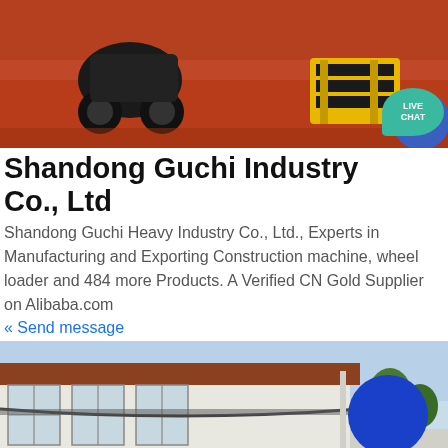[Figure (photo): Top banner showing construction machinery (black wheeled vehicle and yellow equipment) on a reddish-brown surface, with a Live Chat bubble in the top right corner]
Shandong Guchi Heavy Industry Co., Ltd
Shandong Guchi Heavy Industry Co., Ltd., Experts in Manufacturing and Exporting Construction machine, wheel loader and 484 more Products. A Verified CN Gold Supplier on Alibaba.com
« Send message
[Figure (photo): Exterior photo of a factory/industrial building with white walls, large windows, and a dark roof. A blue circle chat button overlaid on the right side.]
WhatsApp
Get a Quote